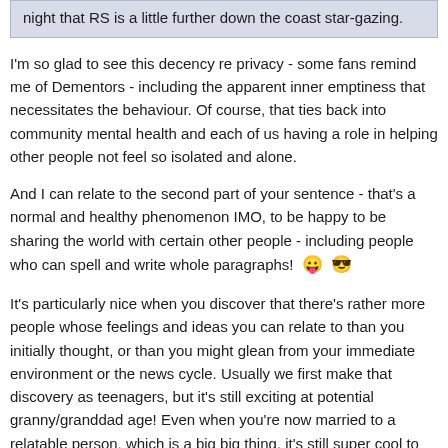night that RS is a little further down the coast star-gazing.
I'm so glad to see this decency re privacy - some fans remind me of Dementors - including the apparent inner emptiness that necessitates the behaviour. Of course, that ties back into community mental health and each of us having a role in helping other people not feel so isolated and alone.
And I can relate to the second part of your sentence - that's a normal and healthy phenomenon IMO, to be happy to be sharing the world with certain other people - including people who can spell and write whole paragraphs! 😛 😎
It's particularly nice when you discover that there's rather more people whose feelings and ideas you can relate to than you initially thought, or than you might glean from your immediate environment or the news cycle. Usually we first make that discovery as teenagers, but it's still exciting at potential granny/granddad age! Even when you're now married to a relatable person, which is a big big thing, it's still super cool to make these discoveries and it still makes me happy. 😀